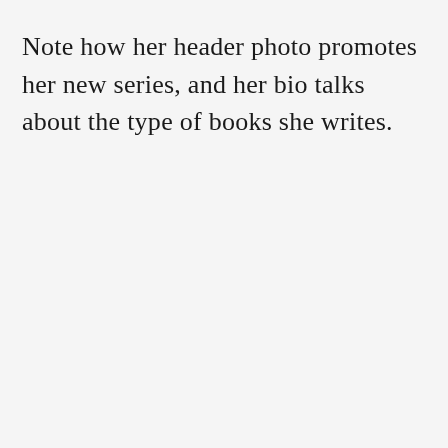Note how her header photo promotes her new series, and her bio talks about the type of books she writes.